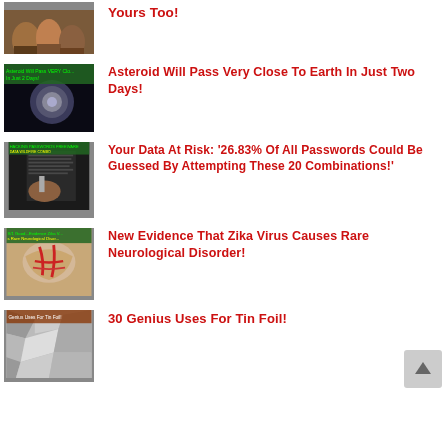[Figure (photo): Thumbnail of jars/canned goods - partial top of first article]
Yours Too!
[Figure (photo): Thumbnail showing asteroid passing near Earth with text overlay]
Asteroid Will Pass Very Close To Earth In Just Two Days!
[Figure (photo): Thumbnail showing password/hacking imagery with text overlay]
Your Data At Risk: ‘26.83% Of All Passwords Could Be Guessed By Attempting These 20 Combinations!’
[Figure (photo): Thumbnail showing Zika virus neurological imagery with text overlay]
New Evidence That Zika Virus Causes Rare Neurological Disorder!
[Figure (photo): Thumbnail showing tin foil crumpled]
30 Genius Uses For Tin Foil!